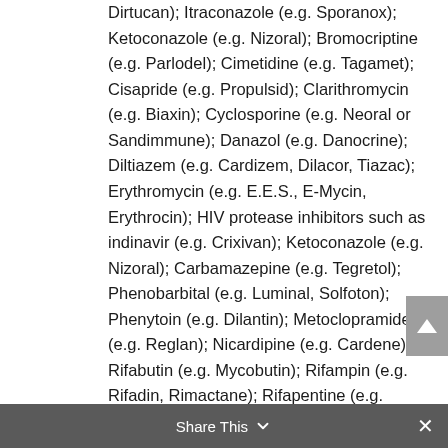Dirtucan); Itraconazole (e.g. Sporanox); Ketoconazole (e.g. Nizoral); Bromocriptine (e.g. Parlodel); Cimetidine (e.g. Tagamet); Cisapride (e.g. Propulsid); Clarithromycin (e.g. Biaxin); Cyclosporine (e.g. Neoral or Sandimmune); Danazol (e.g. Danocrine); Diltiazem (e.g. Cardizem, Dilacor, Tiazac); Erythromycin (e.g. E.E.S., E-Mycin, Erythrocin); HIV protease inhibitors such as indinavir (e.g. Crixivan); Ketoconazole (e.g. Nizoral); Carbamazepine (e.g. Tegretol); Phenobarbital (e.g. Luminal, Solfoton); Phenytoin (e.g. Dilantin); Metoclopramide (e.g. Reglan); Nicardipine (e.g. Cardene); Rifabutin (e.g. Mycobutin); Rifampin (e.g. Rifadin, Rimactane); Rifapentine (e.g. Priftin); Ritonavir (e.g. Norvir); St. John’s wort; tacrolimus (e.g. Prograf);Troleandomycin (e.g. TAO); Verapamil
Share This